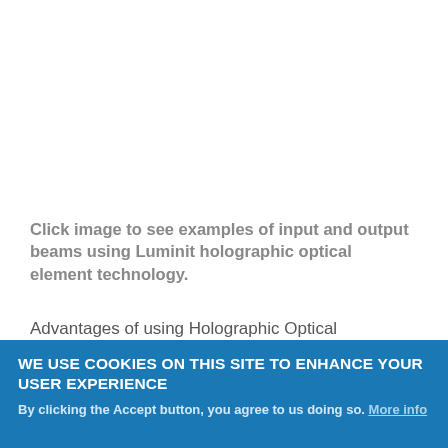Click image to see examples of input and output beams using Luminit holographic optical element technology.
Advantages of using Holographic Optical Elements:
WE USE COOKIES ON THIS SITE TO ENHANCE YOUR USER EXPERIENCE
By clicking the Accept button, you agree to us doing so. More info